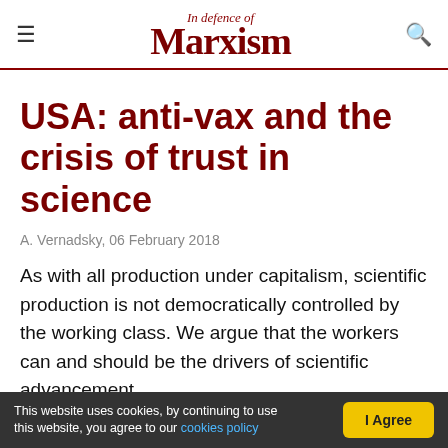In Defence of Marxism
USA: anti-vax and the crisis of trust in science
A. Vernadsky, 06 February 2018
As with all production under capitalism, scientific production is not democratically controlled by the working class. We argue that the workers can and should be the drivers of scientific advancement.
This website uses cookies, by continuing to use this website, you agree to our cookies policy  I Agree